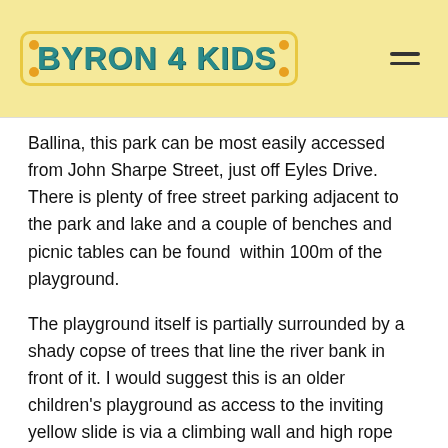BYRON 4 KIDS
Ballina, this park can be most easily accessed from John Sharpe Street, just off Eyles Drive. There is plenty of free street parking adjacent to the park and lake and a couple of benches and picnic tables can be found within 100m of the playground.
The playground itself is partially surrounded by a shady copse of trees that line the river bank in front of it. I would suggest this is an older children's playground as access to the inviting yellow slide is via a climbing wall and high rope bridge where (unless you are very tall) it is practically impossible for a parent to assist their small child across. Having said that there is a wide low swing underneath and other rope climbing frames to try.